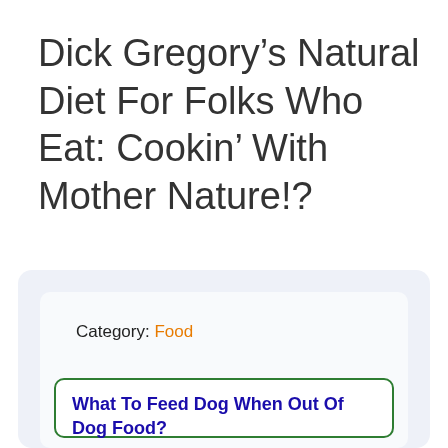Dick Gregory’s Natural Diet For Folks Who Eat: Cookin’ With Mother Nature!?
Category: Food
What To Feed Dog When Out Of Dog Food?